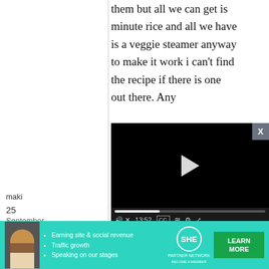them but all we can get is minute rice and all we have is a veggie steamer anyway to make it work i can't find the recipe if there is one out there. Any
[Figure (screenshot): Embedded video player with black background, play button in center, progress bar showing 13:52, and controls for audio, CC, grid, settings, and fullscreen.]
No, you
maki
25
September,
[Figure (screenshot): Advertisement banner for SHE Partner Network with teal background, a woman's photo, bullet points about earning site & social revenue, traffic growth, speaking on stages, SHE logo, and a Learn More button.]